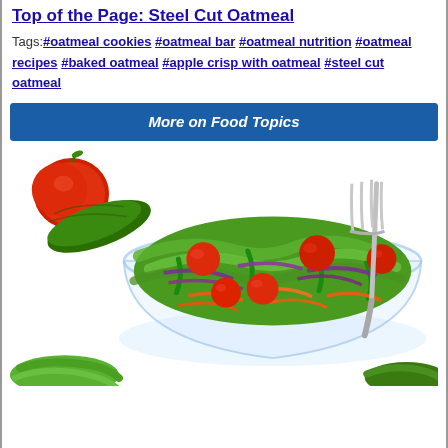Top of the Page: Steel Cut Oatmeal
Tags: #oatmeal cookies #oatmeal bar #oatmeal nutrition #oatmeal recipes #baked oatmeal #apple crisp with oatmeal #steel cut oatmeal
[Figure (other): Blue button/banner labeled 'More on Food Topics']
[Figure (photo): Photo of a colorful salad in a glass bowl with cherry tomatoes, green peppers, shredded carrots, purple cabbage, lettuce, and a fork lifting salad. Background shows tomatoes, cucumbers, and lettuce leaves.]